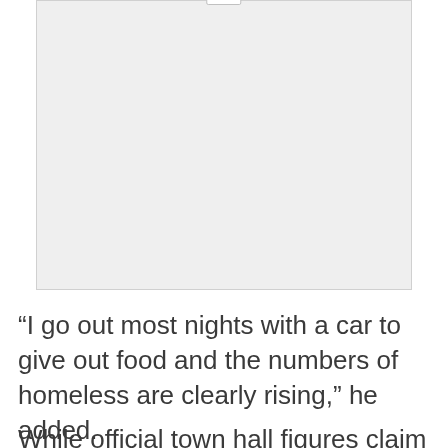[Figure (other): Advertisement placeholder box with 'Ad' label at top center]
“I go out most nights with a car to give out food and the numbers of homeless are clearly rising,” he added.
While official town hall figures claim only 11